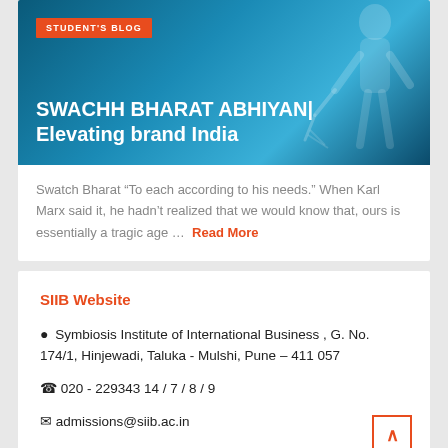[Figure (illustration): Blog post header image with blue gradient background showing a stylized figure silhouette. Orange badge reads STUDENT'S BLOG. White overlay title reads SWACHH BHARAT ABHIYAN| Elevating brand India.]
SWACHH BHARAT ABHIYAN| Elevating brand India
Swatch Bharat “To each according to his needs.” When Karl Marx said it, he hadn’t realized that we would know that, ours is essentially a tragic age … Read More
SIIB Website
Symbiosis Institute of International Business , G. No. 174/1, Hinjewadi, Taluka - Mulshi, Pune – 411 057
020 - 229343 14 / 7 / 8 / 9
admissions@siib.ac.in